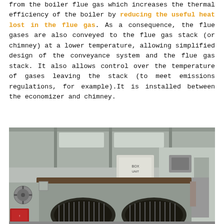from the boiler flue gas which increases the thermal efficiency of the boiler by reducing the useful heat lost in the flue gas. As a consequence, the flue gases are also conveyed to the flue gas stack (or chimney) at a lower temperature, allowing simplified design of the conveyance system and the flue gas stack. It also allows control over the temperature of gases leaving the stack (to meet emissions regulations, for example).It is installed between the economizer and chimney.
[Figure (photo): Industrial boiler air preheater equipment in a factory setting. Large metal ductwork/casing with arched openings visible, industrial fans and equipment in the background.]